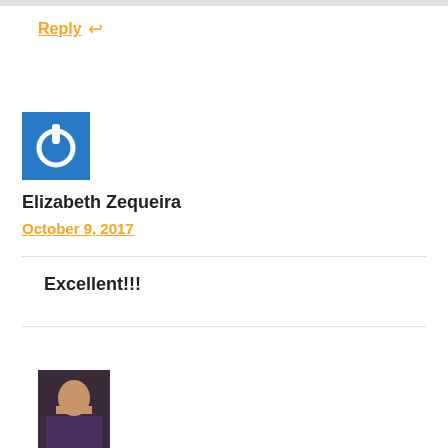Reply ↩
[Figure (illustration): Blue square avatar with white power button icon (circle with top notch)]
Elizabeth Zequeira
October 9, 2017
Excellent!!!
[Figure (photo): Photo of a man in a dark top, partially visible at bottom of page]